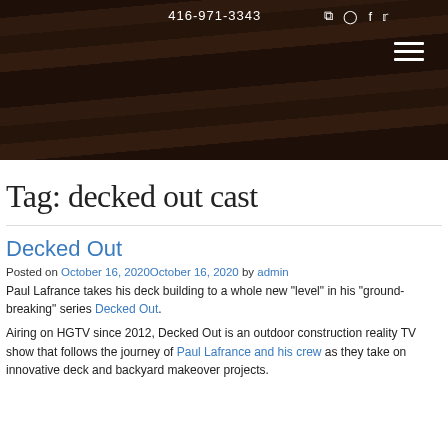416-971-3343
Tag: decked out cast
Decked Out
Posted on October 16, 2020October 16, 2020 by admin
Paul Lafrance takes his deck building to a whole new 'level' in his 'ground-breaking' series Decked Out.
Airing on HGTV since 2012, Decked Out is an outdoor construction reality TV show that follows the journey of Paul Lafrance and his crew as they take on innovative deck and backyard makeover projects.